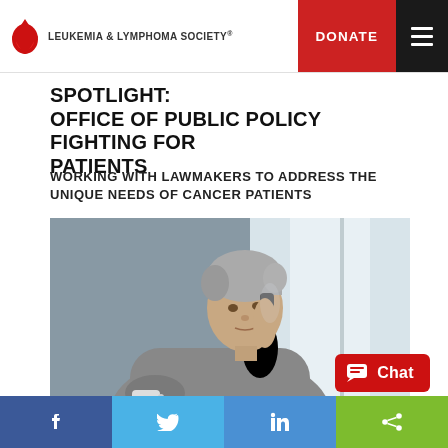LEUKEMIA & LYMPHOMA SOCIETY® | DONATE
SPOTLIGHT:
OFFICE OF PUBLIC POLICY FIGHTING FOR PATIENTS
WORKING WITH LAWMAKERS TO ADDRESS THE UNIQUE NEEDS OF CANCER PATIENTS
[Figure (photo): Older woman with short grey hair, wearing a grey knit sweater, holding a phone to her ear and looking out a window thoughtfully, holding a mug]
Chat
Facebook | Twitter | LinkedIn | Share